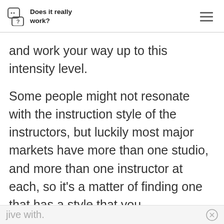Does it really work?
and work your way up to this intensity level.
Some people might not resonate with the instruction style of the instructors, but luckily most major markets have more than one studio, and more than one instructor at each, so it’s a matter of finding one that has a style that you
jive with.